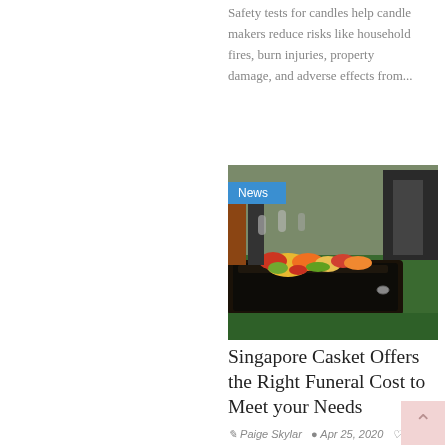Safety tests for candles help candle makers reduce risks like household fires, burn injuries, property damage, and adverse effects from...
[Figure (photo): Outdoor funeral scene showing a dark casket covered with colorful flowers, surrounded by mourners dressed in black, standing on green grass.]
Singapore Casket Offers the Right Funeral Cost to Meet your Needs
Paige Skylar  Apr 25, 2020  Like
With the best funeral services at affordable...